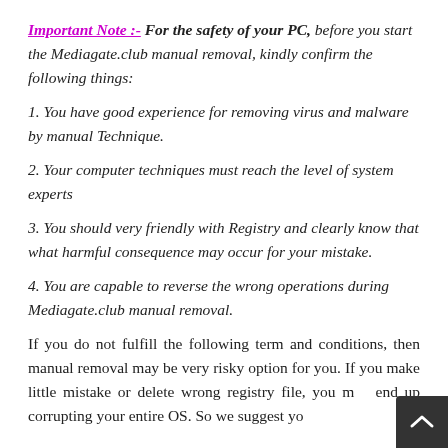Important Note :- For the safety of your PC, before you start the Mediagate.club manual removal, kindly confirm the following things:
1. You have good experience for removing virus and malware by manual Technique.
2. Your computer techniques must reach the level of system experts
3. You should very friendly with Registry and clearly know that what harmful consequence may occur for your mistake.
4. You are capable to reverse the wrong operations during Mediagate.club manual removal.
If you do not fulfill the following term and conditions, then manual removal may be very risky option for you. If you make little mistake or delete wrong registry file, you may end up corrupting your entire OS. So we suggest yo